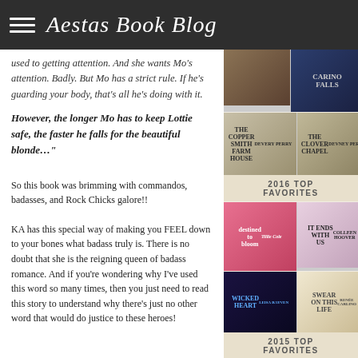Aestas Book Blog
used to getting attention. And she wants Mo's attention. Badly. But Mo has a strict rule. If he's guarding your body, that's all he's doing with it.
However, the longer Mo has to keep Lottie safe, the faster he falls for the beautiful blonde..."
So this book was brimming with commandos, badasses, and Rock Chicks galore!!
KA has this special way of making you FEEL down to your bones what badass truly is. There is no doubt that she is the reigning queen of badass romance. And if you're wondering why I've used this word so many times, then you just need to read this story to understand why there's just no other word that would do justice to these heroes!
[Figure (illustration): Sidebar with book covers and '2016 TOP FAVORITES' and '2015 TOP FAVORITES' labels]
2016 TOP FAVORITES
2015 TOP FAVORITES